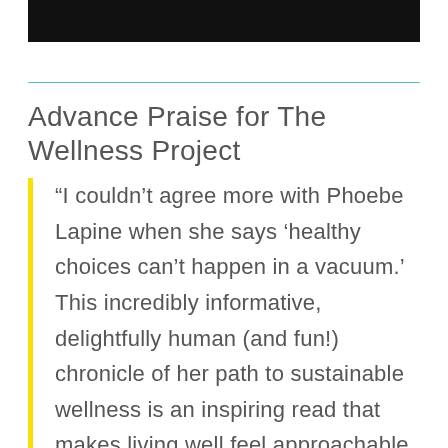[Figure (other): Black header bar spanning the top of the page]
Advance Praise for The Wellness Project
“I couldn’t agree more with Phoebe Lapine when she says ‘healthy choices can’t happen in a vacuum.’ This incredibly informative, delightfully human (and fun!) chronicle of her path to sustainable wellness is an inspiring read that makes living well feel approachable. Whether you’re looking for support as you take an honest